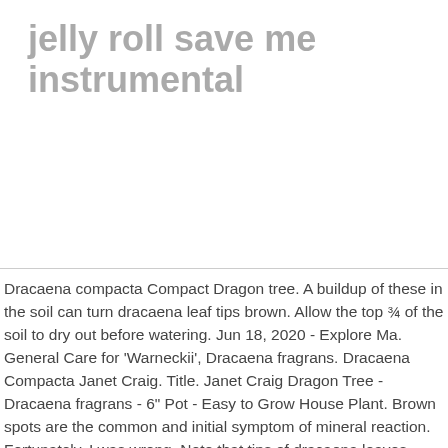jelly roll save me instrumental
Dracaena compacta Compact Dragon tree. A buildup of these in the soil can turn dracaena leaf tips brown. Allow the top ¾ of the soil to dry out before watering. Jun 18, 2020 - Explore Ma. General Care for 'Warneckii', Dracaena fragrans. Dracaena Compacta Janet Craig. Title. Janet Craig Dragon Tree - Dracaena fragrans - 6" Pot - Easy to Grow House Plant. Brown spots are the common and initial symptom of mineral reaction. Fortunately, I was wrong. Note that tips of dracaena leaves turning brown is another problem unrelated to overwatering: plant necrosis due to fluoride and salts in water. Other Reasons for Browning Dracaena Leaves. ask the expert . If the plant is growing extremely slowly (in dim light), it needs extremely little water. These plants are usually happy in